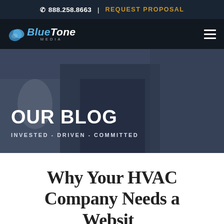888.258.8663 | REQUEST PROPOSAL
[Figure (logo): BlueTone Media logo with blue leaf icon and italic white text]
[Figure (photo): Hero banner with dark overlay showing people in business attire, with text OUR BLOG and INVESTED - DRIVEN - COMMITTED]
Why Your HVAC Company Needs a Website